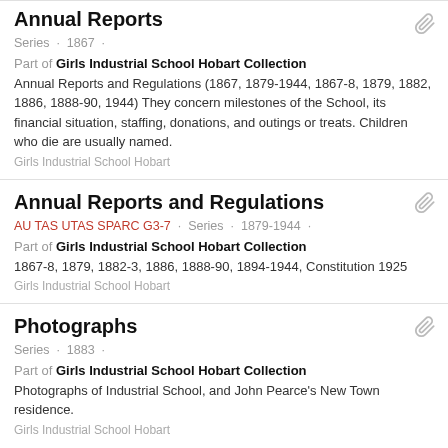Annual Reports
Series · 1867 ·
Part of Girls Industrial School Hobart Collection
Annual Reports and Regulations (1867, 1879-1944, 1867-8, 1879, 1882, 1886, 1888-90, 1944) They concern milestones of the School, its financial situation, staffing, donations, and outings or treats. Children who die are usually named.
Girls Industrial School Hobart
Annual Reports and Regulations
AU TAS UTAS SPARC G3-7 · Series · 1879-1944 ·
Part of Girls Industrial School Hobart Collection
1867-8, 1879, 1882-3, 1886, 1888-90, 1894-1944, Constitution 1925
Girls Industrial School Hobart
Photographs
Series · 1883 ·
Part of Girls Industrial School Hobart Collection
Photographs of Industrial School, and John Pearce's New Town residence.
Girls Industrial School Hobart